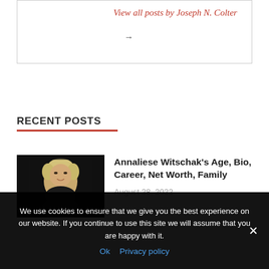View all posts by Joseph N. Colter
→
RECENT POSTS
[Figure (photo): Portrait photo of a woman with short blonde hair wearing a dark outfit, smiling, against a dark background.]
Annaliese Witschak's Age, Bio, Career, Net Worth, Family
August 28, 2022
We use cookies to ensure that we give you the best experience on our website. If you continue to use this site we will assume that you are happy with it.
Ok   Privacy policy